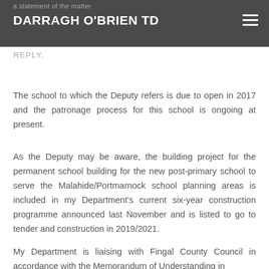DARRAGH O'BRIEN TD
REPLY.
The school to which the Deputy refers is due to open in 2017 and the patronage process for this school is ongoing at present.
As the Deputy may be aware, the building project for the permanent school building for the new post-primary school to serve the Malahide/Portmarnock school planning areas is included in my Department's current six-year construction programme announced last November and is listed to go to tender and construction in 2019/2021.
My Department is liaising with Fingal County Council in accordance with the Memorandum of Understanding in